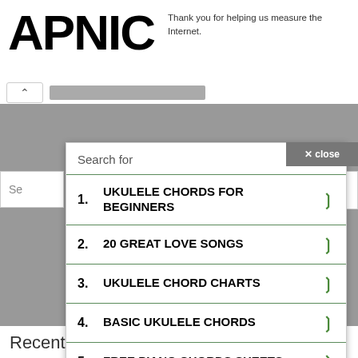[Figure (screenshot): APNIC website logo in large bold black letters]
Thank you for helping us measure the Internet.
× close
Search for
1. UKULELE CHORDS FOR BEGINNERS
2. 20 GREAT LOVE SONGS
3. UKULELE CHORD CHARTS
4. BASIC UKULELE CHORDS
5. FREE PIANO CHORDS SHEETS
Ad | Business Focus
Recent Posts